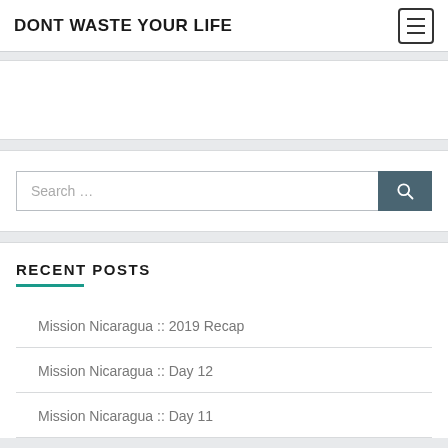DONT WASTE YOUR LIFE
RECENT POSTS
Mission Nicaragua :: 2019 Recap
Mission Nicaragua :: Day 12
Mission Nicaragua :: Day 11